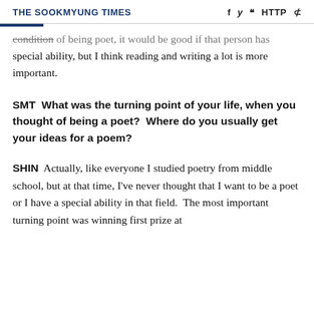THE SOOKMYUNG TIMES
condition of being poet, it would be good if that person has special ability, but I think reading and writing a lot is more important.
SMT  What was the turning point of your life, when you thought of being a poet?  Where do you usually get your ideas for a poem?
SHIN  Actually, like everyone I studied poetry from middle school, but at that time, I've never thought that I want to be a poet or I have a special ability in that field.  The most important turning point was winning first prize at